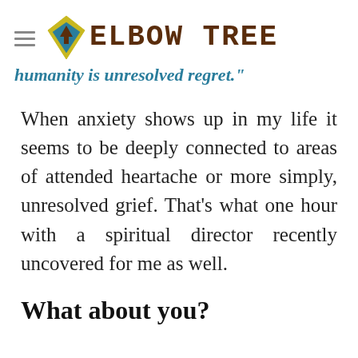ELBOW TREE
humanity is unresolved regret."
When anxiety shows up in my life it seems to be deeply connected to areas of attended heartache or more simply, unresolved grief. That's what one hour with a spiritual director recently uncovered for me as well.
What about you?